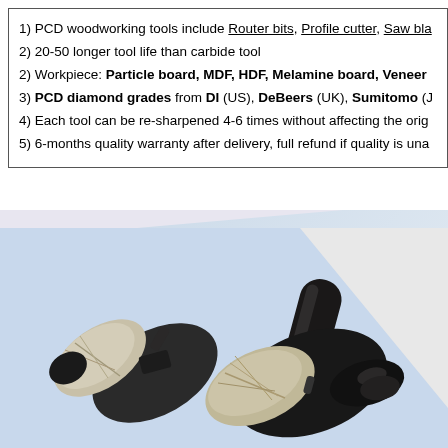1) PCD woodworking tools include Router bits, Profile cutter, Saw bla...
2) 20-50 longer tool life than carbide tool
2) Workpiece: Particle board, MDF, HDF, Melamine board, Veneer...
3) PCD diamond grades from DI (US), DeBeers (UK), Sumitomo (J...
4) Each tool can be re-sharpened 4-6 times without affecting the orig...
5) 6-months quality warranty after delivery, full refund if quality is una...
[Figure (photo): Photo of two PCD router bit cutting heads, black metal body with silver/white PCD diamond cutting edges, shown on a light blue-white background]